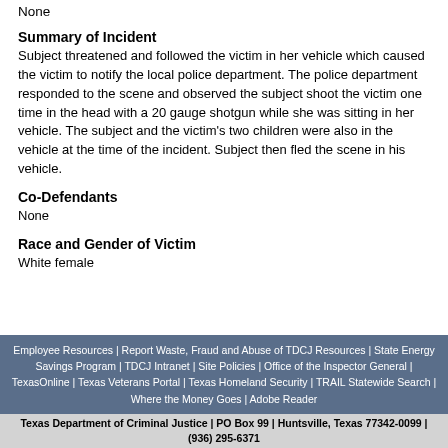None
Summary of Incident
Subject threatened and followed the victim in her vehicle which caused the victim to notify the local police department. The police department responded to the scene and observed the subject shoot the victim one time in the head with a 20 gauge shotgun while she was sitting in her vehicle. The subject and the victim's two children were also in the vehicle at the time of the incident. Subject then fled the scene in his vehicle.
Co-Defendants
None
Race and Gender of Victim
White female
Employee Resources | Report Waste, Fraud and Abuse of TDCJ Resources | State Energy Savings Program | TDCJ Intranet | Site Policies | Office of the Inspector General | TexasOnline | Texas Veterans Portal | Texas Homeland Security | TRAIL Statewide Search | Where the Money Goes | Adobe Reader
Texas Department of Criminal Justice | PO Box 99 | Huntsville, Texas 77342-0099 | (936) 295-6371